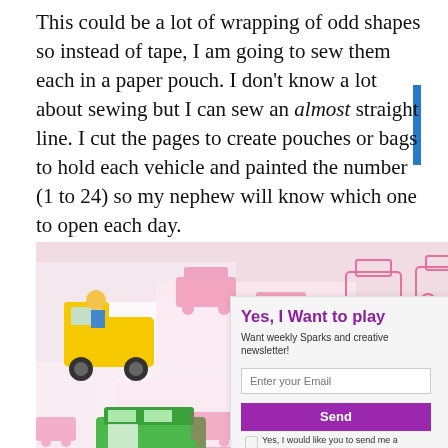This could be a lot of wrapping of odd shapes so instead of tape, I am going to sew them each in a paper pouch. I don't know a lot about sewing but I can sew an almost straight line. I cut the pages to create pouches or bags to hold each vehicle and painted the number (1 to 24) so my nephew will know which one to open each day.
[Figure (photo): Photo of pink/white paper pouches with vehicle prints, yellow toy trucks, a green toy bus, and black yarn/string arranged on a surface. Partially overlaid by a newsletter signup popup.]
Yes, I Want to play
Want weekly Sparks and creative newsletter!
Enter your Email
Send
Yes, I would like you to send me a
Privacy & C